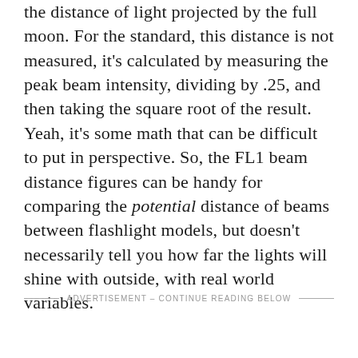...the distance of light projected by the full moon. For the standard, this distance is not measured, it's calculated by measuring the peak beam intensity, dividing by .25, and then taking the square root of the result. Yeah, it's some math that can be difficult to put in perspective. So, the FL1 beam distance figures can be handy for comparing the potential distance of beams between flashlight models, but doesn't necessarily tell you how far the lights will shine with outside, with real world variables.
ADVERTISEMENT - CONTINUE READING BELOW